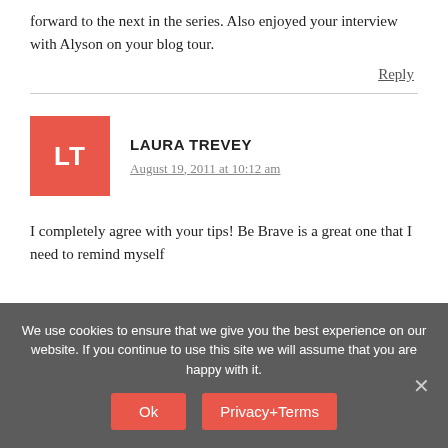forward to the next in the series. Also enjoyed your interview with Alyson on your blog tour.
Reply
LAURA TREVEY
August 19, 2011 at 10:12 am
I completely agree with your tips! Be Brave is a great one that I need to remind myself
We use cookies to ensure that we give you the best experience on our website. If you continue to use this site we will assume that you are happy with it.
Ok
Privacy+Terms